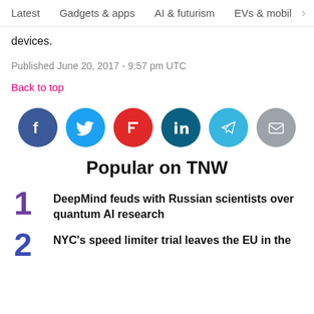Latest   Gadgets & apps   AI & futurism   EVs & mobil >
devices.
Published June 20, 2017 - 9:57 pm UTC
Back to top
[Figure (infographic): Row of six social sharing icons: Facebook (blue), Twitter (light blue), Flipboard (red), LinkedIn (dark teal), Telegram (sky blue), Email (gray)]
Popular on TNW
DeepMind feuds with Russian scientists over quantum AI research
NYC's speed limiter trial leaves the EU in the